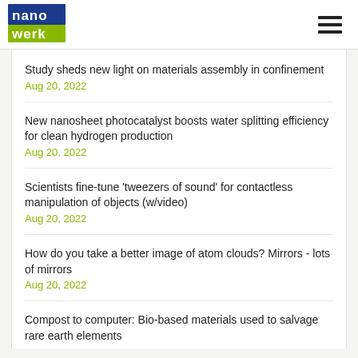[Figure (logo): Nanowerk logo - blue and green square logo with 'nano werk' text]
Study sheds new light on materials assembly in confinement
Aug 20, 2022
New nanosheet photocatalyst boosts water splitting efficiency for clean hydrogen production
Aug 20, 2022
Scientists fine-tune 'tweezers of sound' for contactless manipulation of objects (w/video)
Aug 20, 2022
How do you take a better image of atom clouds? Mirrors - lots of mirrors
Aug 20, 2022
Compost to computer: Bio-based materials used to salvage rare earth elements